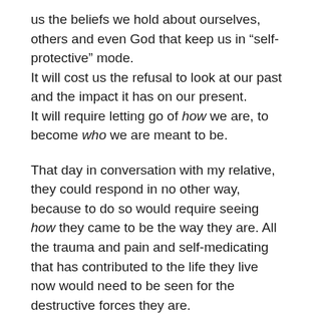us the beliefs we hold about ourselves, others and even God that keep us in “self-protective” mode. It will cost us the refusal to look at our past and the impact it has on our present. It will require letting go of how we are, to become who we are meant to be.
That day in conversation with my relative, they could respond in no other way, because to do so would require seeing how they came to be the way they are. All the trauma and pain and self-medicating that has contributed to the life they live now would need to be seen for the destructive forces they are.
A threat to their “how” is not